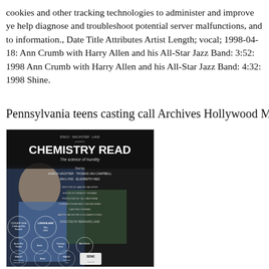cookies and other tracking technologies to administer and improve ye help diagnose and troubleshoot potential server malfunctions, and to information., Date Title Attributes Artist Length; vocal; 1998-04-18: Ann Crumb with Harry Allen and his All-Star Jazz Band: 3:52: 1998 Ann Crumb with Harry Allen and his All-Star Jazz Band: 4:32: 1998 Shine.
Pennsylvania teens casting call Archives Hollywood M
[Figure (photo): Movie poster for 'Chemistry Read - The Science of Humility' directed by Bernard Land, featuring a person in the foreground and film festival award laurels at the bottom. Cast includes Aaron Vachter, Thomas Ian Campbell, Ian Lynd, Elizabeth Inez. Written by Aaron Vachter.]